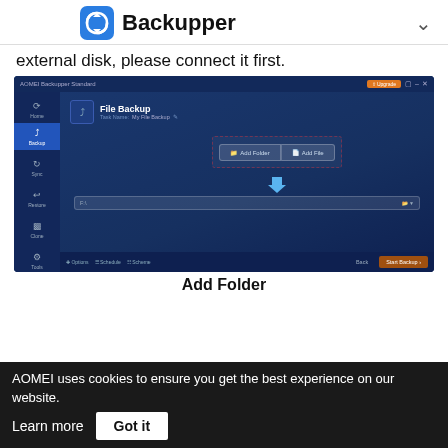Backupper
external disk, please connect it first.
[Figure (screenshot): AOMEI Backupper Standard software UI showing File Backup screen with Add Folder and Add File buttons highlighted with a dashed red border, and a destination path bar at the bottom. Left sidebar shows Home, Backup (active), Sync, Restore, Clone, Tools navigation items. Bottom bar shows Options, Schedule, Scheme links and Back/Start Backup buttons.]
Add Folder
AOMEI uses cookies to ensure you get the best experience on our website. Learn more  Got it